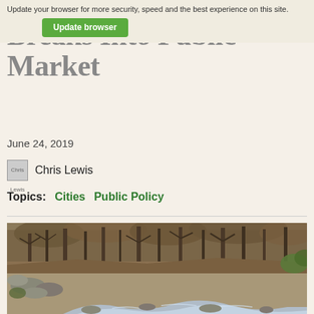Update your browser for more security, speed and the best experience on this site. Update browser
Breaks Into Public Market
June 24, 2019
Chris Lewis
Topics: Cities    Public Policy
[Figure (photo): A forest scene with a rocky creek or stream running through bare winter trees, with rocks and rushing water in the foreground.]